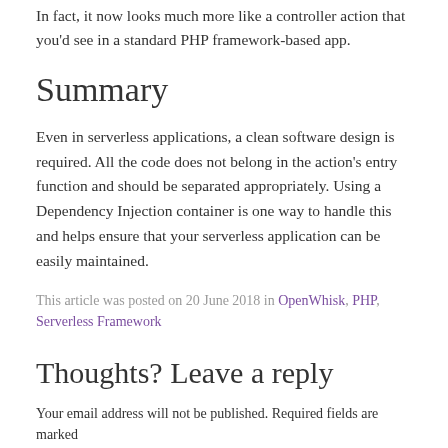In fact, it now looks much more like a controller action that you'd see in a standard PHP framework-based app.
Summary
Even in serverless applications, a clean software design is required. All the code does not belong in the action's entry function and should be separated appropriately. Using a Dependency Injection container is one way to handle this and helps ensure that your serverless application can be easily maintained.
This article was posted on 20 June 2018 in OpenWhisk, PHP, Serverless Framework
Thoughts? Leave a reply
Your email address will not be published. Required fields are marked *